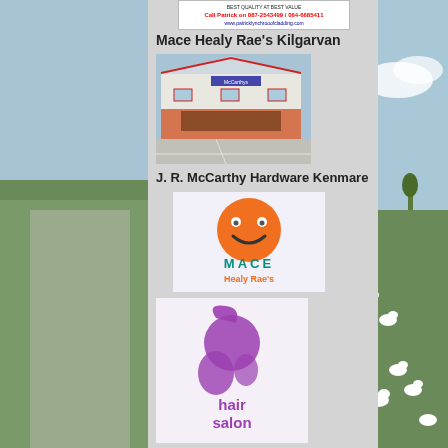[Figure (photo): Advertisement banner for Patrick Lynch Roof Cladding with phone numbers 087-2543499 / 064-6685411 and website www.patricklynchrooofcladding.com]
Mace Healy Rae's Kilgarvan
[Figure (photo): Photo of McCarthy's hardware/supermarket store building exterior with large parking area]
J. R. McCarthy Hardware Kenmare
[Figure (logo): MACE Healy Rae's logo - orange smiley face character above MACE text and Healy Rae's text in teal/orange colors]
[Figure (logo): hairsalon logo - purple stylized hair figure with hairsalon text in purple]